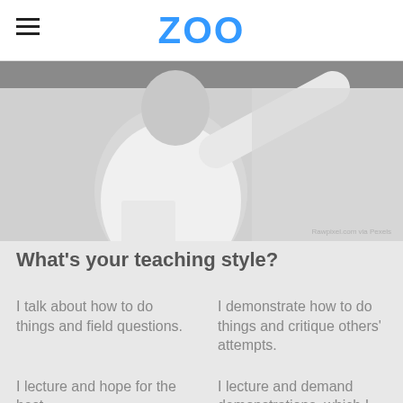ZOO
[Figure (photo): Grayscale photo of a person in a white long-sleeve shirt holding papers and gesturing toward a whiteboard or wall, shot from a low angle. Watermark text reads 'Rawpixel.com via Pexels' in bottom right corner.]
What's your teaching style?
I talk about how to do things and field questions.
I demonstrate how to do things and critique others' attempts.
I lecture and hope for the best.
I lecture and demand demonstrations, which I then grade.